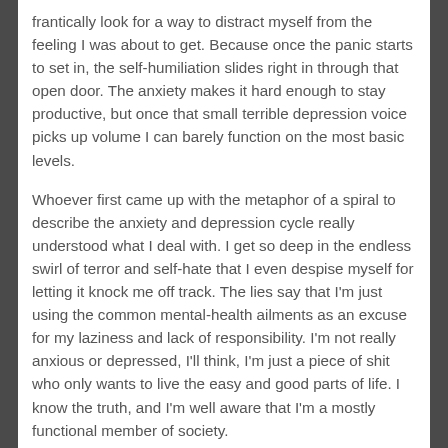frantically look for a way to distract myself from the feeling I was about to get. Because once the panic starts to set in, the self-humiliation slides right in through that open door. The anxiety makes it hard enough to stay productive, but once that small terrible depression voice picks up volume I can barely function on the most basic levels.
Whoever first came up with the metaphor of a spiral to describe the anxiety and depression cycle really understood what I deal with. I get so deep in the endless swirl of terror and self-hate that I even despise myself for letting it knock me off track. The lies say that I'm just using the common mental-health ailments as an excuse for my laziness and lack of responsibility. I'm not really anxious or depressed, I'll think, I'm just a piece of shit who only wants to live the easy and good parts of life. I know the truth, and I'm well aware that I'm a mostly functional member of society.